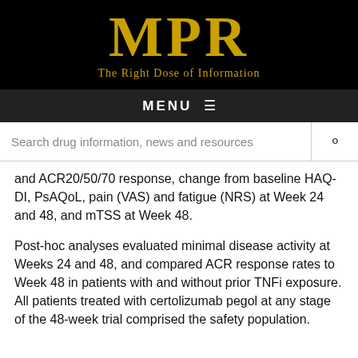[Figure (logo): MPR logo with tagline 'The Right Dose of Information' on black background]
MENU ≡
Search drug information, news and resources
and ACR20/50/70 response, change from baseline HAQ-DI, PsAQoL, pain (VAS) and fatigue (NRS) at Week 24 and 48, and mTSS at Week 48.
Post-hoc analyses evaluated minimal disease activity at Weeks 24 and 48, and compared ACR response rates to Week 48 in patients with and without prior TNFi exposure. All patients treated with certolizumab pegol at any stage of the 48-week trial comprised the safety population.